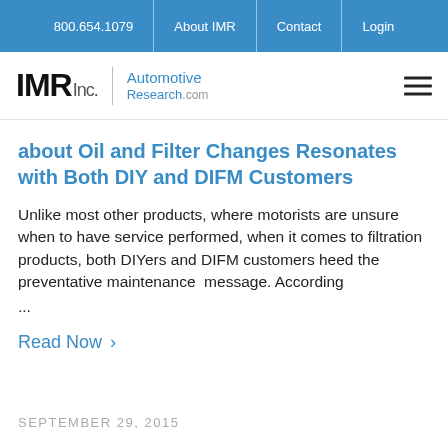800.654.1079 | About IMR | Contact | Login
[Figure (logo): IMR Inc. Automotive Research.com logo with hamburger menu icon]
about Oil and Filter Changes Resonates with Both DIY and DIFM Customers
Unlike most other products, where motorists are unsure when to have service performed, when it comes to filtration products, both DIYers and DIFM customers heed the preventative maintenance  message. According ...
Read Now ›
SEPTEMBER 29, 2015